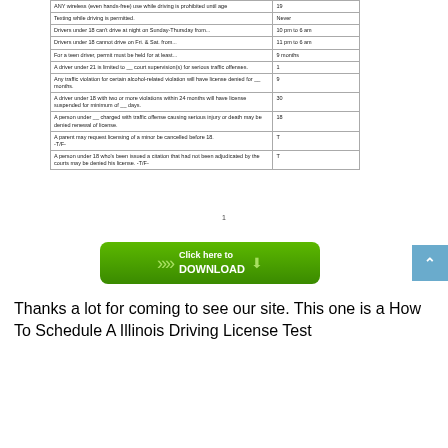|  |  |
| --- | --- |
| ANY wireless (even hands-free) use while driving is prohibited until age | 19 |
| Texting while driving is permitted. | Never |
| Drivers under 18 can't drive at night on Sunday-Thursday from... | 10 pm to 6 am |
| Drivers under 18 cannot drive on Fri. & Sat. from... | 11 pm to 6 am |
| For a teen driver, permit must be held for at least... | 9 months |
| A driver under 21 is limited to __ court supervision(s) for serious traffic offenses. | 1 |
| Any traffic violation for certain alcohol-related violation will have license denied for __ months. | 9 |
| A driver under 18 with two or more violations within 24 months will have license suspended for minimum of __ days. | 30 |
| A person under __ charged with traffic offense causing serious injury or death may be denied renewal of license. | 18 |
| A parent may request licensing of a minor be cancelled before 18. -T/F- | T |
| A person under 18 who's been issued a citation that had not been adjudicated by the courts may be denied his license. -T/F- | T |
1
[Figure (illustration): Green download button with arrows and text 'Click here to DOWNLOAD' with download icon]
Thanks a lot for coming to see our site. This one is a How To Schedule A Illinois Driving License Test